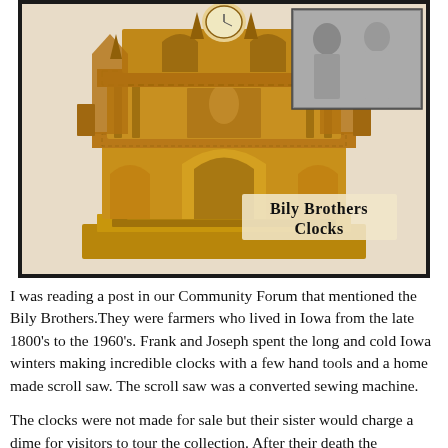[Figure (photo): A photograph of a highly ornate wooden clock crafted by the Bily Brothers, resembling a Gothic cathedral with intricate carvings, arches, and spires. In the upper right corner is a black and white photo of two men. A text overlay reads 'Bily Brothers Clocks' in a bold serif font.]
I was reading a post in our Community Forum that mentioned the Bily Brothers.They were farmers who lived in Iowa from the late 1800's to the 1960's. Frank and Joseph spent the long and cold Iowa winters making incredible clocks with a few hand tools and a home made scroll saw. The scroll saw was a converted sewing machine.
The clocks were not made for sale but their sister would charge a dime for visitors to tour the collection. After their death the collection was donated to the town of Spillville,